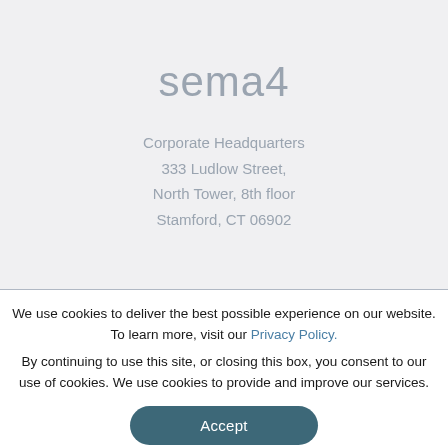[Figure (logo): sema4 company logo in gray text]
Corporate Headquarters
333 Ludlow Street,
North Tower, 8th floor
Stamford, CT 06902
We use cookies to deliver the best possible experience on our website. To learn more, visit our Privacy Policy.
By continuing to use this site, or closing this box, you consent to our use of cookies. We use cookies to provide and improve our services.
Accept